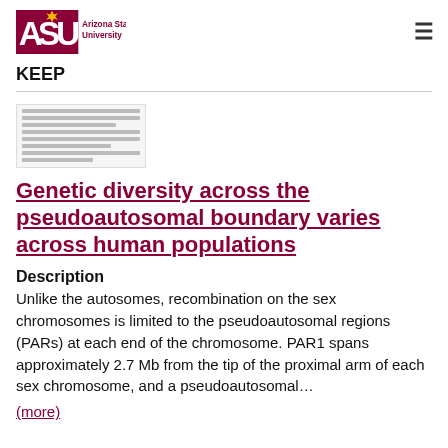ASU Arizona State University
KEEP
[Figure (screenshot): Thumbnail image of a document page with small text lines]
Genetic diversity across the pseudoautosomal boundary varies across human populations
Description
Unlike the autosomes, recombination on the sex chromosomes is limited to the pseudoautosomal regions (PARs) at each end of the chromosome. PAR1 spans approximately 2.7 Mb from the tip of the proximal arm of each sex chromosome, and a pseudoautosomal…
(more)